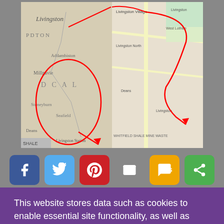[Figure (map): Side-by-side comparison of a historical map (left, black and white) and a modern map (right, color) of the Livingston area, both with red arrows/circles drawn on them indicating a route or location.]
[Figure (infographic): Social sharing buttons row: Facebook (blue), Twitter (light blue), Pinterest (red), Email (grey), SMS (yellow/orange), Share (green)]
This website stores data such as cookies to enable essential site functionality, as well as marketing, personalization, and analytics. Cookie Policy
Accept
Deny